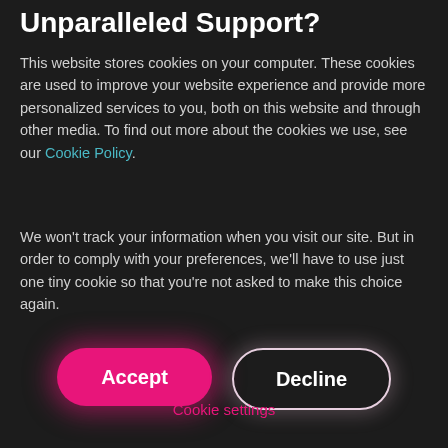Unparalleled Support?
This website stores cookies on your computer. These cookies are used to improve your website experience and provide more personalized services to you, both on this website and through other media. To find out more about the cookies we use, see our Cookie Policy.
We won't track your information when you visit our site. But in order to comply with your preferences, we'll have to use just one tiny cookie so that you're not asked to make this choice again.
Accept
Decline
Cookie settings